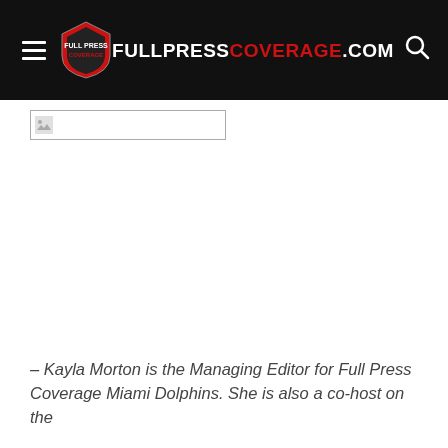FULLPRESSCOVERAGE.COM
[Figure (photo): Broken image placeholder thumbnail]
– Kayla Morton is the Managing Editor for Full Press Coverage Miami Dolphins. She is also a co-host on the